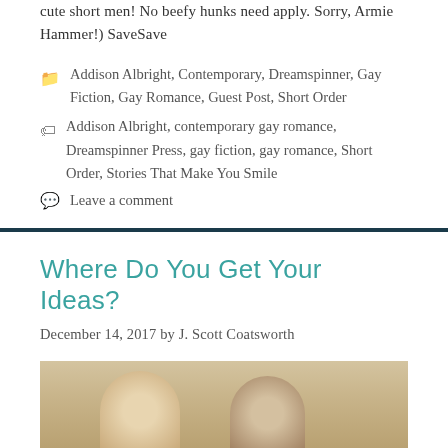cute short men! No beefy hunks need apply. Sorry, Armie Hammer!) SaveSave
Categories: Addison Albright, Contemporary, Dreamspinner, Gay Fiction, Gay Romance, Guest Post, Short Order
Tags: Addison Albright, contemporary gay romance, Dreamspinner Press, gay fiction, gay romance, Short Order, Stories That Make You Smile
Leave a comment
Where Do You Get Your Ideas?
December 14, 2017 by J. Scott Coatsworth
[Figure (photo): Photo of two people outdoors against a stone wall background]